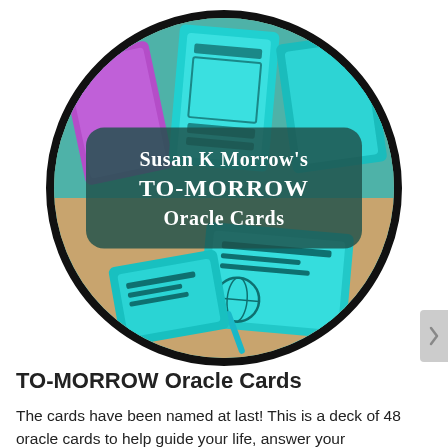[Figure (photo): A circular photo with a thick black border showing a collection of teal/cyan oracle cards scattered on a wooden surface, with some purple cards visible. A dark teal rounded rectangle overlay in the center displays white text: 'Susan K Morrow's TO-MORROW Oracle Cards'.]
TO-MORROW Oracle Cards
The cards have been named at last! This is a deck of 48 oracle cards to help guide your life, answer your questions, and communicate with Spirit. I was divinely inspired to create these and they have been